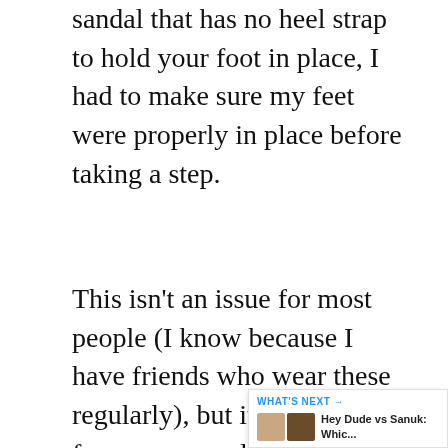sandal that has no heel strap to hold your foot in place, I had to make sure my feet were properly in place before taking a step.
This isn't an issue for most people (I know because I have friends who wear these regularly), but it was an issue for me personally because I tend to walk with my feet turned out slightly (pronated).
If you have flat feet or overpronate like me, this might not be the best choice for you unless you're willing to adjust walking style or wear them only on dry days when there isn't much chance of